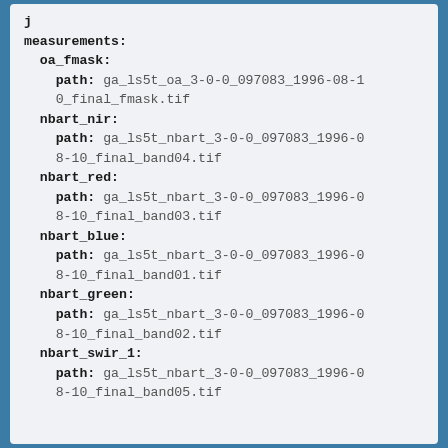measurements:
  oa_fmask:
    path: ga_ls5t_oa_3-0-0_097083_1996-08-10_final_fmask.tif
  nbart_nir:
    path: ga_ls5t_nbart_3-0-0_097083_1996-08-10_final_band04.tif
  nbart_red:
    path: ga_ls5t_nbart_3-0-0_097083_1996-08-10_final_band03.tif
  nbart_blue:
    path: ga_ls5t_nbart_3-0-0_097083_1996-08-10_final_band01.tif
  nbart_green:
    path: ga_ls5t_nbart_3-0-0_097083_1996-08-10_final_band02.tif
  nbart_swir_1:
    path: ga_ls5t_nbart_3-0-0_097083_1996-08-10_final_band05.tif